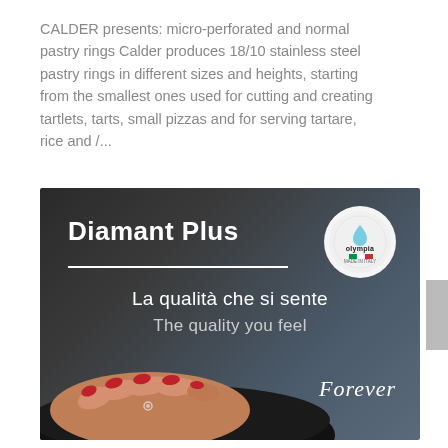CALDER presents: micro-perforated and normal pastry rings Calder produces 18/10 stainless steel pastry rings in different sizes and heights, starting from the smallest ones used for cutting and creating tartlets, tarts, small pizzas and for serving tartare, rice and /...
[Figure (illustration): Advertisement image for 'Diamant Plus' cookware by Olympia (Made in Italy). Dark background with a woman's hand with red nails resting on a black pan. Text: 'La qualità che si sente / The quality you feel / Forever'. Olympia logo circle top right.]